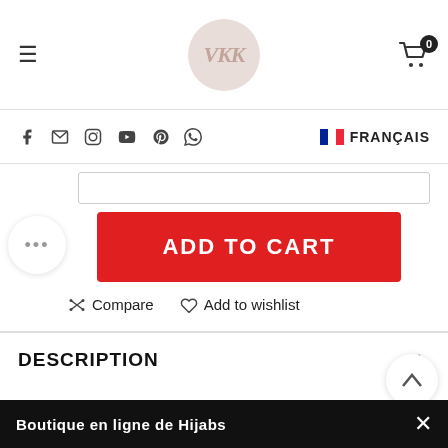Navigation header with hamburger menu, logo, and cart (0 items)
Social icons: Facebook, Email, Instagram, YouTube, Pinterest, WhatsApp | FRANÇAIS
[Figure (screenshot): Add to Cart product action area with quantity/size selector row, red ADD TO CART button, Compare and Add to wishlist links]
DESCRIPTION
Boutique en ligne de Hijabs  ×